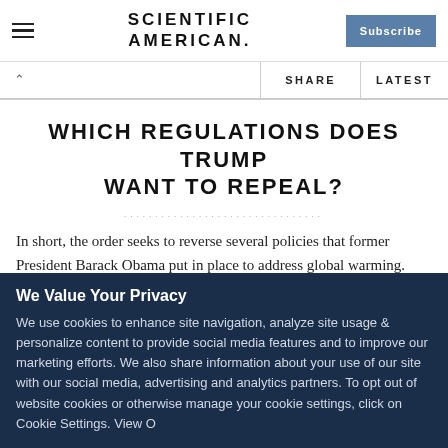SCIENTIFIC AMERICAN
WHICH REGULATIONS DOES TRUMP WANT TO REPEAL?
In short, the order seeks to reverse several policies that former President Barack Obama put in place to address global warming.
We Value Your Privacy
We use cookies to enhance site navigation, analyze site usage & personalize content to provide social media features and to improve our marketing efforts. We also share information about your use of our site with our social media, advertising and analytics partners. To opt out of website cookies or otherwise manage your cookie settings, click on Cookie Settings. View O